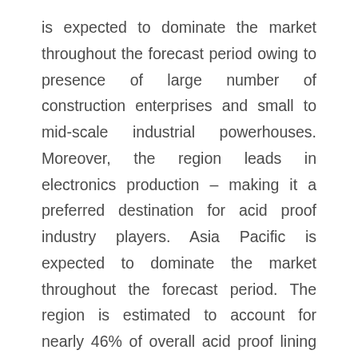is expected to dominate the market throughout the forecast period owing to presence of large number of construction enterprises and small to mid-scale industrial powerhouses. Moreover, the region leads in electronics production – making it a preferred destination for acid proof industry players. Asia Pacific is expected to dominate the market throughout the forecast period. The region is estimated to account for nearly 46% of overall acid proof lining market share.
Europe will fall next to Asia Pacific. Though the region is highly mature